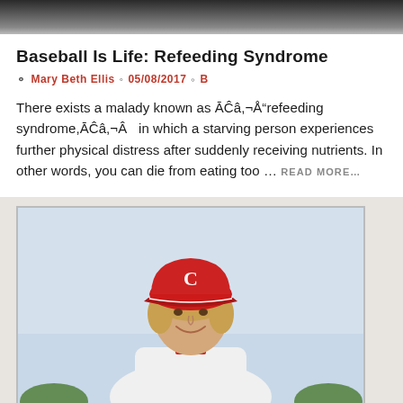[Figure (photo): Dark gradient top banner bar]
Baseball Is Life: Refeeding Syndrome
Mary Beth Ellis  05/08/2017  8
There exists a malady known as ĀĈâ,¬Å"refeeding syndrome,ĀĈâ,¬Â   in which a starving person experiences further physical distress after suddenly receiving nutrients. In other words, you can die from eating too ...  READ MORE...
[Figure (photo): A young man wearing a Cincinnati Reds red baseball cap with 'C' logo, smiling, wearing a white baseball uniform, with light background. Vintage-style baseball card photo.]